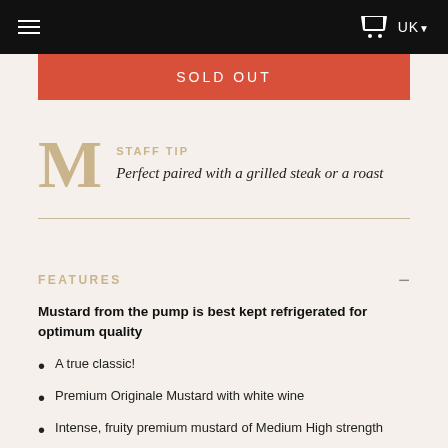UK
SOLD OUT
STAFF TIP
Perfect paired with a grilled steak or a roast
FEATURES
Mustard from the pump is best kept refrigerated for optimum quality
A true classic!
Premium Originale Mustard with white wine
Intense, fruity premium mustard of Medium High strength